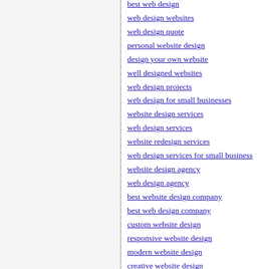best web design
web design websites
web design quote
personal website design
design your own website
well designed websites
web design projects
web design for small businesses
website design services
web design services
website redesign services
web design services for small business
website design agency
web design agency
best website design company
best web design company
custom website design
responsive website design
modern website design
creative website design
affordable web design